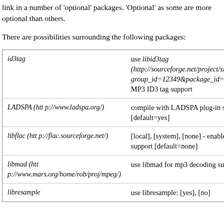link in a number of 'optional' packages. 'Optional' as some are more optional than others.
There are possibilities surrounding the following packages:
| Package | Description |
| --- | --- |
| id3tag | use libid3tag (http://sourceforge.net/project/showfiles.php?group_id=12349&package_id=87002) for MP3 ID3 tag support |
| LADSPA (http://www.ladspa.org/) | compile with LADSPA plug-in support [default=yes] |
| libflac (http://flac.sourceforge.net/) | [local], [system], [none] - enable FLAC support [default=none] |
| libmad (http://www.mars.org/home/rob/proj/mpeg/) | use libmad for mp3 decoding support |
| libresample | use libresample: [yes], [no] |